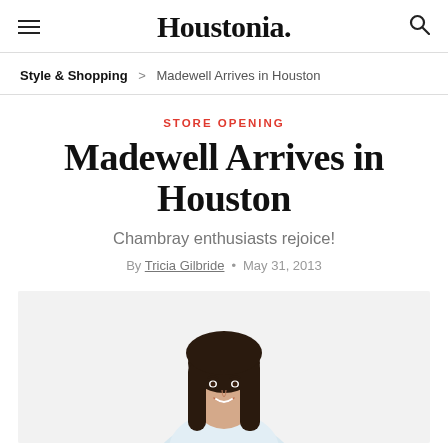Houstonia.
Style & Shopping > Madewell Arrives in Houston
STORE OPENING
Madewell Arrives in Houston
Chambray enthusiasts rejoice!
By Tricia Gilbride • May 31, 2013
[Figure (photo): A smiling woman with dark hair on a light gray/white background, cropped at mid-torso, wearing a light colored top.]